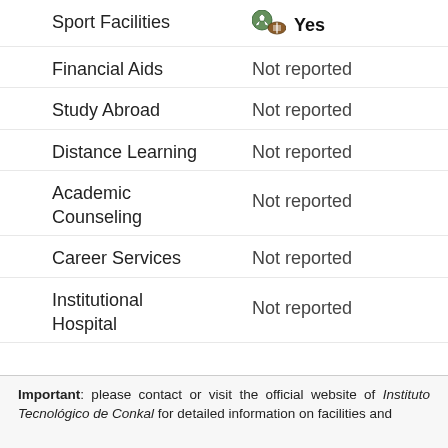Sport Facilities — Yes
Financial Aids — Not reported
Study Abroad — Not reported
Distance Learning — Not reported
Academic Counseling — Not reported
Career Services — Not reported
Institutional Hospital — Not reported
Tip: search for Instituto Tecnológico de Conkal's facilities and services with the uniRank Search Engine
Important: please contact or visit the official website of Instituto Tecnológico de Conkal for detailed information on facilities and